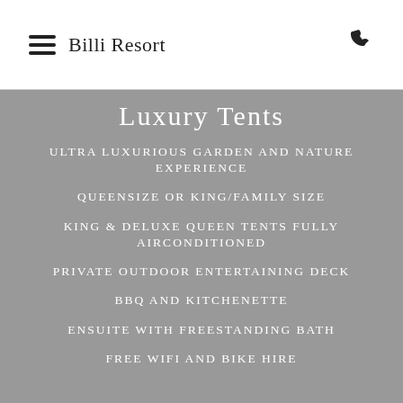Billi Resort
Luxury Tents
ULTRA LUXURIOUS GARDEN AND NATURE EXPERIENCE
QUEENSIZE OR KING/FAMILY SIZE
KING & DELUXE QUEEN TENTS FULLY AIRCONDITIONED
PRIVATE OUTDOOR ENTERTAINING DECK
BBQ AND KITCHENETTE
ENSUITE WITH FREESTANDING BATH
FREE WIFI AND BIKE HIRE